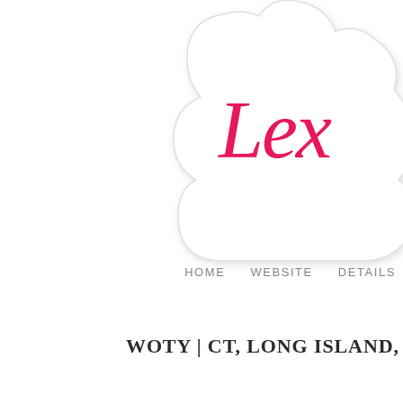[Figure (logo): Partial logo with ornate cloud/scroll shape border in light gray with drop shadow, containing cursive script text starting with 'Lex' in hot pink/magenta color, positioned in upper right corner]
HOME   WEBSITE   DETAILS
WOTY | CT, LONG ISLAND, NY, NYC WEDDING